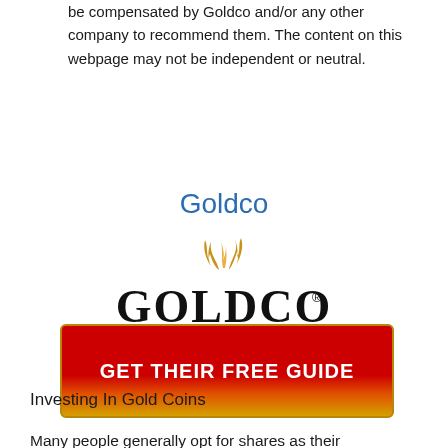be compensated by Goldco and/or any other company to recommend them. The content on this webpage may not be independent or neutral.
Goldco
[Figure (logo): Goldco logo with flame/smoke graphic above bold GOLDCO text and registered trademark symbol]
[Figure (other): Red and gold gradient button with text GET THEIR FREE GUIDE in white bold letters]
Investing In Gold Coins
Many people generally opt for shares as their